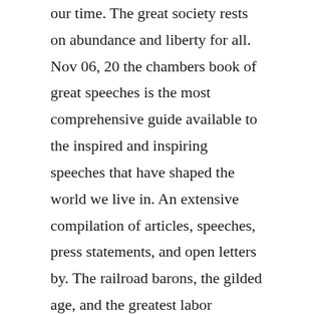our time. The great society rests on abundance and liberty for all. Nov 06, 20 the chambers book of great speeches is the most comprehensive guide available to the inspired and inspiring speeches that have shaped the world we live in. An extensive compilation of articles, speeches, press statements, and open letters by. The railroad barons, the gilded age, and the greatest labor uprising in america. A speech for school children on the importance of books and. Winston churchill, prime minister of great britain from 1940 to 1945, he led the country through world war ii, and from